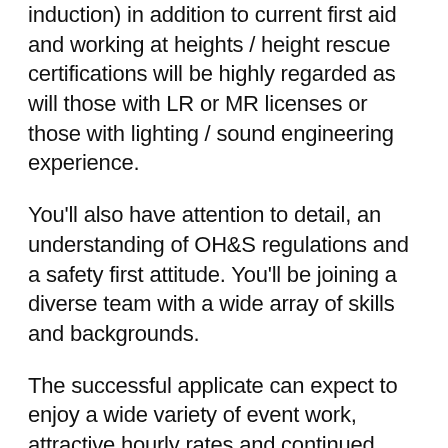induction) in addition to current first aid and working at heights / height rescue certifications will be highly regarded as will those with LR or MR licenses or those with lighting / sound engineering experience.
You'll also have attention to detail, an understanding of OH&S regulations and a safety first attitude. You'll be joining a diverse team with a wide array of skills and backgrounds.
The successful applicate can expect to enjoy a wide variety of event work, attractive hourly rates and continued growth within our company.
Hourly rate will be commensurate with experience.
Interested? Please send your résumé and a brief